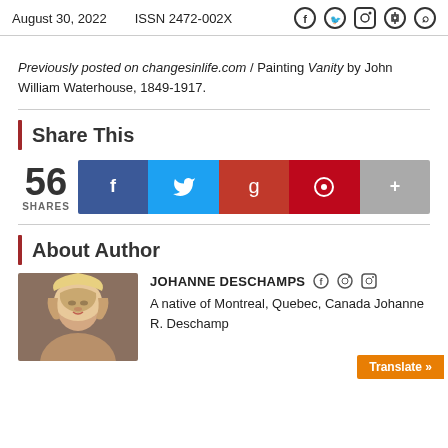August 30, 2022   ISSN 2472-002X
Previously posted on changesinlife.com | Painting Vanity by John William Waterhouse, 1849-1917.
Share This
56 SHARES — social share buttons: Facebook, Twitter, Google+, Pinterest, More
About Author
JOHANNE DESCHAMPS
A native of Montreal, Quebec, Canada Johanne R. Deschamp…
Translate »